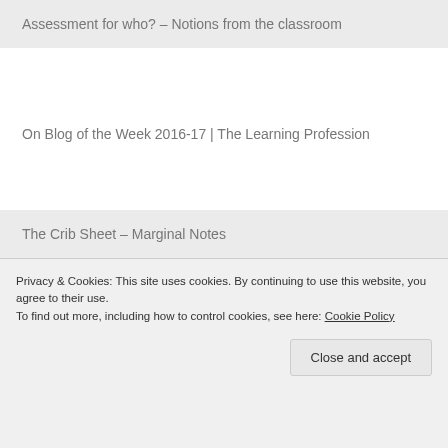Assessment for who? – Notions from the classroom
On Blog of the Week 2016-17 | The Learning Profession
The Crib Sheet – Marginal Notes
TLT17: Session 1 | High Dive Teaching
Whole Class Marking (WCM) | Kesgrave High School
Privacy & Cookies: This site uses cookies. By continuing to use this website, you agree to their use.
To find out more, including how to control cookies, see here: Cookie Policy
Close and accept